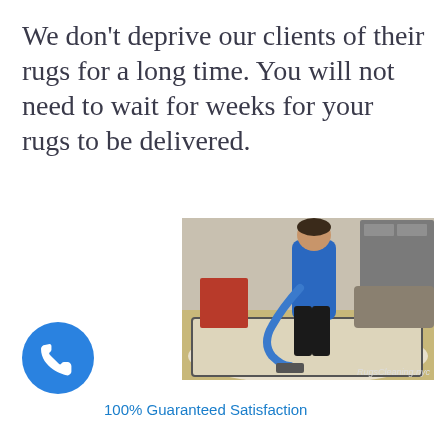We don't deprive our clients of their rugs for a long time. You will not need to wait for weeks for your rugs to be delivered.
[Figure (photo): A man in a blue polo shirt using a blue hose vacuum/cleaning machine on a decorative patterned rug in a living room setting. Watermark reads 'RugsCleaning.nyc'.]
[Figure (logo): Blue circle with white phone/handset icon.]
100% Guaranteed Satisfaction